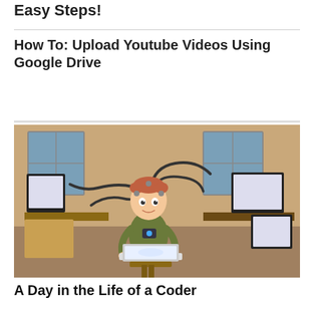Easy Steps!
How To: Upload Youtube Videos Using Google Drive
[Figure (illustration): Cartoon illustration of a young coder sitting at a desk surrounded by multiple computer monitors with cables connected to their head, working on a laptop in a cluttered messy room]
A Day in the Life of a Coder